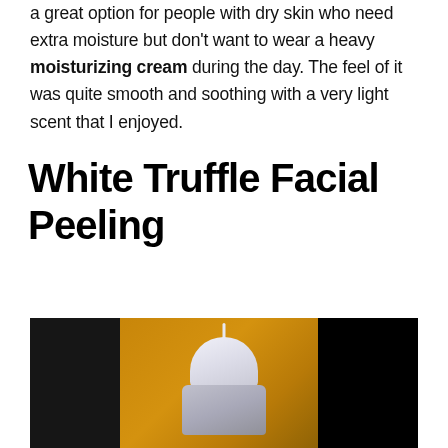a great option for people with dry skin who need extra moisture but don't want to wear a heavy moisturizing cream during the day. The feel of it was quite smooth and soothing with a very light scent that I enjoyed.
White Truffle Facial Peeling
[Figure (photo): A white/silver skincare bottle or dispenser product photographed on a dark background with warm golden/amber tones. The bottle has a rounded white cap and a chrome/silver base with a dark label.]